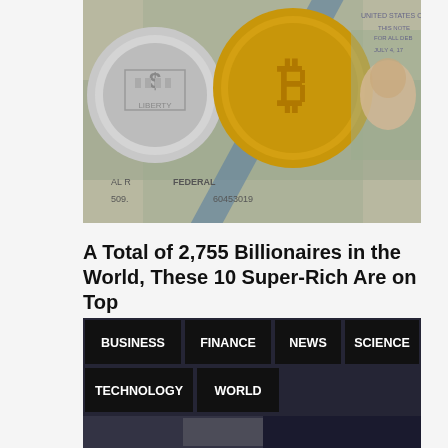[Figure (photo): Close-up photo of cryptocurrency coins (Bitcoin gold coin and silver coin) on top of US dollar bills]
A Total of 2,755 Billionaires in the World, These 10 Super-Rich Are on Top
Depending on their newest net worth and financial performance, the list of the world’s wealthiest people can change from year to year. Here’s the most…
[Figure (photo): Navigation tags at bottom showing category labels: BUSINESS, FINANCE, NEWS, SCIENCE, TECHNOLOGY, WORLD on a dark background with partial image below]